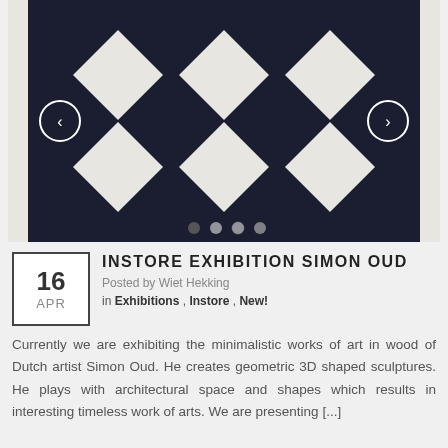[Figure (photo): A black sculptural wooden panel with geometric 3D diamond/rhombus shapes cut through it, revealing a white background behind. Navigation arrows on left and right sides, and four pagination dots at the bottom.]
INSTORE EXHIBITION SIMON OUD
Posted by Wiet Hekking in Exhibitions , Instore , New!
Currently we are exhibiting the minimalistic works of art in wood of Dutch artist Simon Oud. He creates geometric 3D shaped sculptures. He plays with architectural space and shapes which results in interesting timeless work of arts. We are presenting [...]